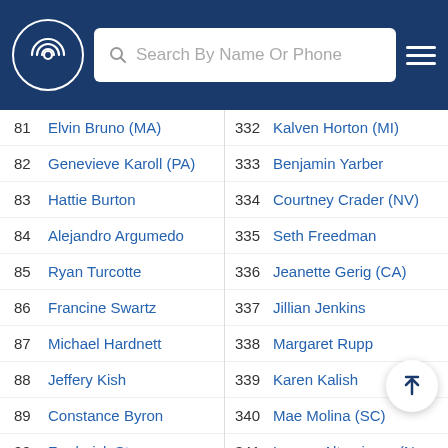Search By Name Or Phone
81  Elvin Bruno (MA)
82  Genevieve Karoll (PA)
83  Hattie Burton
84  Alejandro Argumedo
85  Ryan Turcotte
86  Francine Swartz
87  Michael Hardnett
88  Jeffery Kish
89  Constance Byron
90  Frederick Steers
91  Jean Dieujuste (FL)
92  Shirley Holtzman
332  Kalven Horton (MI)
333  Benjamin Yarber
334  Courtney Crader (NV)
335  Seth Freedman
336  Jeanette Gerig (CA)
337  Jillian Jenkins
338  Margaret Rupp
339  Karen Kalish
340  Mae Molina (SC)
341  Leanor Altamirano (N...
342  Vonnie Mcclain
343  Marie Doucas (MA)